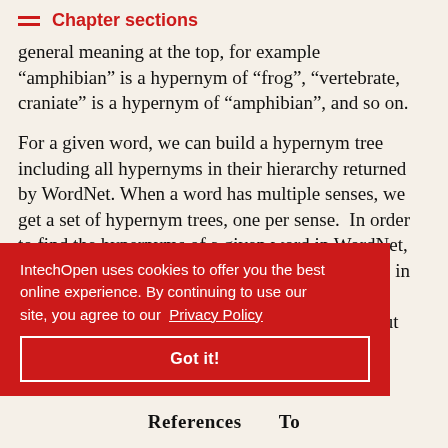Chapter sections
general meaning at the top, for example “amphibian” is a hypernym of “frog”, “vertebrate, craniate” is a hypernym of “amphibian”, and so on.
For a given word, we can build a hypernym tree including all hypernyms in their hierarchy returned by WordNet. When a word has multiple senses, we get a set of hypernym trees, one per sense. In order to find the hypernyms of a given word in WordNet, we must provide the word and the syntactic class in which it is used. ...h, since ...tion about ...ses ...a candidate
IntechOpen uses cookies to offer you the best online experience. By continuing to use our site, you agree to our Privacy Policy
Got it!